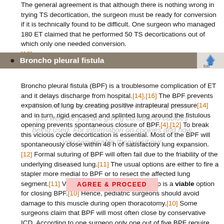The general agreement is that although there is nothing wrong in trying TS decortication, the surgeon must be ready for conversion if it is technically found to be difficult. One surgeon who managed 180 ET claimed that he performed 50 TS decortications out of which only one needed conversion. [16]
Broncho pleural fistula
Broncho pleural fistula (BPF) is a troublesome complication of ET and it delays discharge from hospital.[14],[16] The BPF prevents expansion of lung by creating positive intrapleural pressure[14] and in turn, rigid encased and splinted lung around the fistulous opening prevents spontaneous closure of BPF.[4],[12] To break this vicious cycle decortication is essential. Most of the BPF will spontaneously close within 48 h of satisfactory lung expansion.[12] Formal suturing of BPF will often fail due to the friability of the underlying diseased lung.[11] The usual options are either to fire a stapler more medial to BPF or to resect the affected lung segment.[11] Vascularised latissimus dorsi flap is a viable option for closing BPF.[10] Hence, pediatric surgeons should avoid damage to this muscle during open thoracotomy.[10] Some surgeons claim that BPF will most often close by conservative ICD. According to one surgeon only one out of five BPF require thoracoscopic intervention.[11] Although PTFE is used to suture BPF in adults, it is not known whether it has ever been used in pediatric cases.[15] The BPF should not be